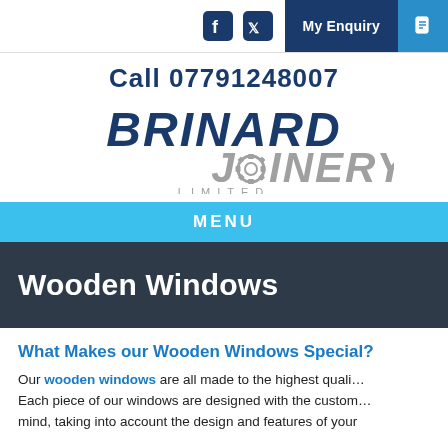My Enquiry
Call 07791248007
[Figure (logo): Brinard Joinery Limited logo — BRINARD in bold dark blue italic, JOINERY in bold grey italic with a gear in the O, LIMITED in spaced grey capitals below]
MENU
Wooden Windows
What Makes our Wooden Windows Special?
Our wooden windows are all made to the highest quali… Each piece of our windows are designed with the custom… mind, taking into account the design and features of your